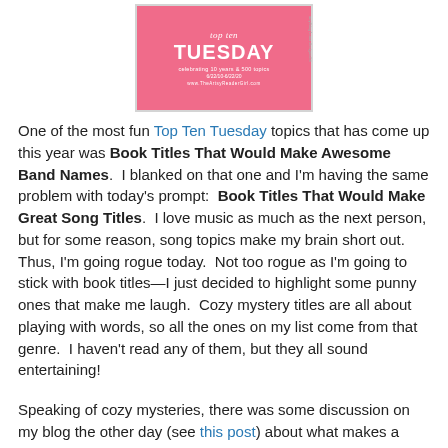[Figure (illustration): Top Ten Tuesday blog meme banner — pink background with white text reading 'top ten TUESDAY, celebrating 10 years & 500 topics, 6/22/10-6/22/20, www.TheArtsyReaderGirl.com']
One of the most fun Top Ten Tuesday topics that has come up this year was Book Titles That Would Make Awesome Band Names. I blanked on that one and I'm having the same problem with today's prompt: Book Titles That Would Make Great Song Titles. I love music as much as the next person, but for some reason, song topics make my brain short out. Thus, I'm going rogue today. Not too rogue as I'm going to stick with book titles—I just decided to highlight some punny ones that make me laugh. Cozy mystery titles are all about playing with words, so all the ones on my list come from that genre. I haven't read any of them, but they all sound entertaining!
Speaking of cozy mysteries, there was some discussion on my blog the other day (see this post) about what makes a mystery "cozy". Generally, books in the genre adhere to